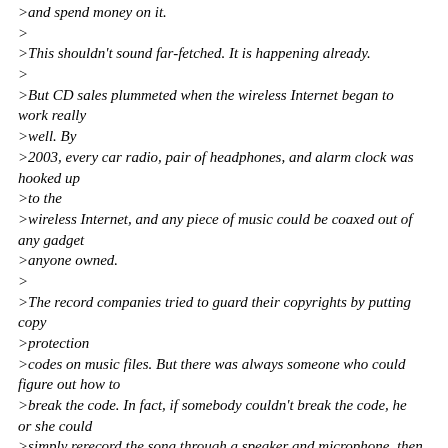>and spend money on it.
>
>This shouldn't sound far-fetched. It is happening already.
>
>But CD sales plummeted when the wireless Internet began to work really
>well. By
>2003, every car radio, pair of headphones, and alarm clock was hooked up
>to the
>wireless Internet, and any piece of music could be coaxed out of any gadget
>anyone owned.
>
>The record companies tried to guard their copyrights by putting copy
>protection
>codes on music files. But there was always someone who could figure out how to
>break the code. In fact, if somebody couldn't break the code, he or she could
>simply rerecord the song through a speaker and microphone, then play it on any
>music software; the next day thousands of free copies could be flying around